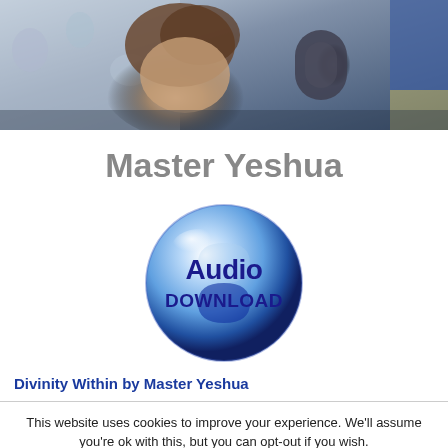[Figure (photo): Banner photo of a person with curly hair near a microphone, with floral background visible]
Master Yeshua
[Figure (illustration): Blue glossy sphere button with text 'Audio DOWNLOAD']
Divinity Within by Master Yeshua
This website uses cookies to improve your experience. We'll assume you're ok with this, but you can opt-out if you wish. Accept Reject Read More